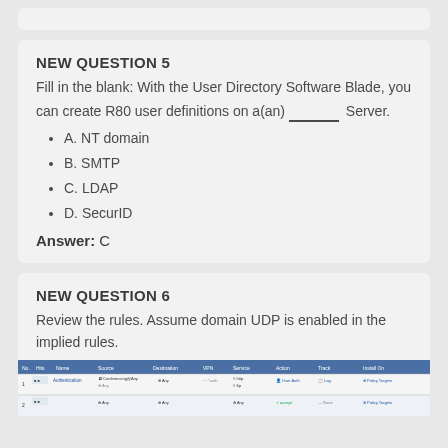NEW QUESTION 5
Fill in the blank: With the User Directory Software Blade, you can create R80 user definitions on a(an) ______ Server.
A. NT domain
B. SMTP
C. LDAP
D. SecurID
Answer: C
NEW QUESTION 6
Review the rules. Assume domain UDP is enabled in the implied rules.
[Figure (screenshot): Screenshot of firewall rules table showing columns: No., Hits, Name, Source, Destination, VPN, Service, Action, Track, Install On. Row 1 shows Authentication rule with Conferencing@Any source, Any destination, Auth, Http/Ftp service, User Auth action, Log track, Policy Targets install. Row 2 shows Any source rule.]